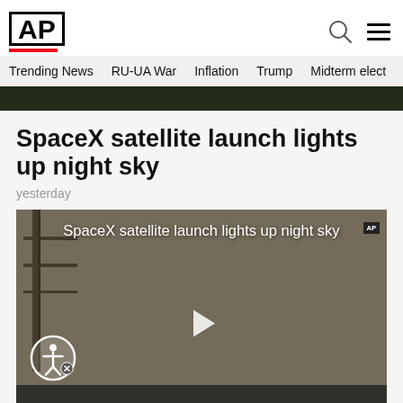AP
Trending News   RU-UA War   Inflation   Trump   Midterm elect
[Figure (photo): Dark image strip at top of page, appears to be a night scene]
SpaceX satellite launch lights up night sky
yesterday
[Figure (screenshot): Video thumbnail showing SpaceX satellite launch with overlay text 'SpaceX satellite launch lights up night sky', an accessibility icon circle in the lower left, and a play button in the center]